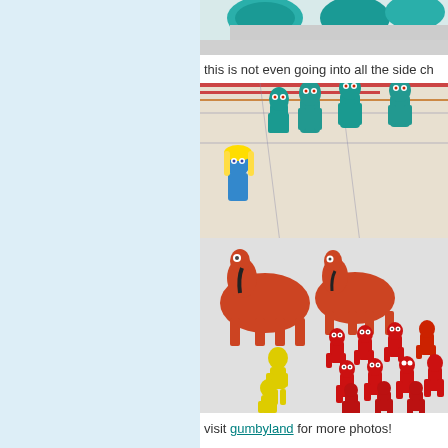[Figure (photo): Partial view of teal/turquoise Gumby-shaped toy figures at top of image, cut off at top edge]
this is not even going into all the side ch
[Figure (photo): Collection of Gumby character toy figurines: multiple teal Gumby figures in back row, orange/red Pokey horse figures in middle, small red Gumby-like figures at bottom right, yellow figures at bottom left, and a blue girl character figure on left side]
visit gumbyland for more photos!